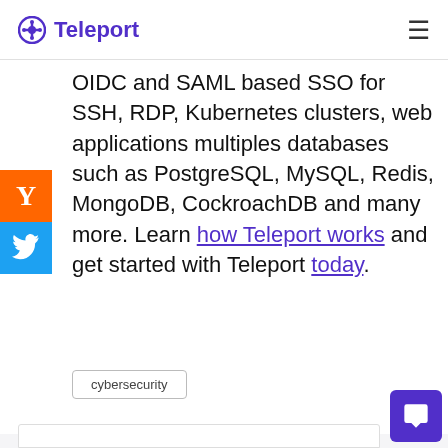Teleport
OIDC and SAML based SSO for SSH, RDP, Kubernetes clusters, web applications multiples databases such as PostgreSQL, MySQL, Redis, MongoDB, CockroachDB and many more. Learn how Teleport works and get started with Teleport today.
cybersecurity
FEATURED ARTICLES: